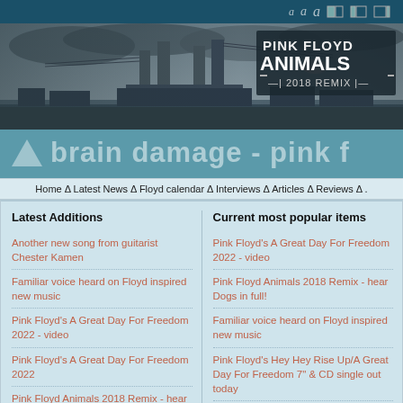Brain Damage - Pink Floyd website toolbar
[Figure (photo): Pink Floyd Animals 2018 Remix album cover banner showing industrial landscape with Battersea Power Station and a pig flying, with 'PINK FLOYD ANIMALS 2018 REMIX' text overlay]
▲ brain damage - pink f
Home Δ Latest News Δ Floyd calendar Δ Interviews Δ Articles Δ Reviews Δ .
Latest Additions
Current most popular items
Another new song from guitarist Chester Kamen
Familiar voice heard on Floyd inspired new music
Pink Floyd's A Great Day For Freedom 2022 - video
Pink Floyd's A Great Day For Freedom 2022
Pink Floyd Animals 2018 Remix - hear Dogs in full!
Pink Floyd's A Great Day For Freedom 2022 - video
Pink Floyd Animals 2018 Remix - hear Dogs in full!
Familiar voice heard on Floyd inspired new music
Pink Floyd's Hey Hey Rise Up/A Great Day For Freedom 7" & CD single out today
Pink Floyd's A Great Day For Freedom 2022